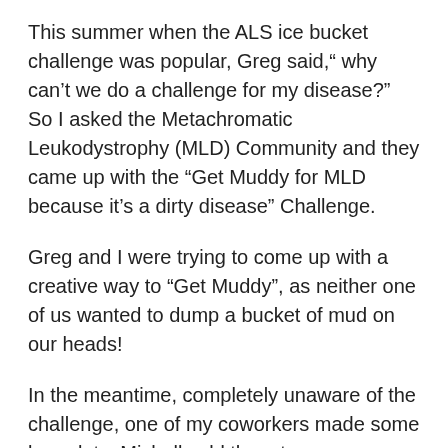This summer when the ALS ice bucket challenge was popular, Greg said,“ why can’t we do a challenge for my disease?” So I asked the Metachromatic Leukodystrophy (MLD) Community and they came up with the “Get Muddy for MLD because it’s a dirty disease” Challenge.
Greg and I were trying to come up with a creative way to “Get Muddy”, as neither one of us wanted to dump a bucket of mud on our heads!
In the meantime, completely unaware of the challenge, one of my coworkers made some bracelets. Michell sold them to our colleagues to let me see that they were all supporting us on this journey, and to help raise funds for Greg’s “bucketlist” it...